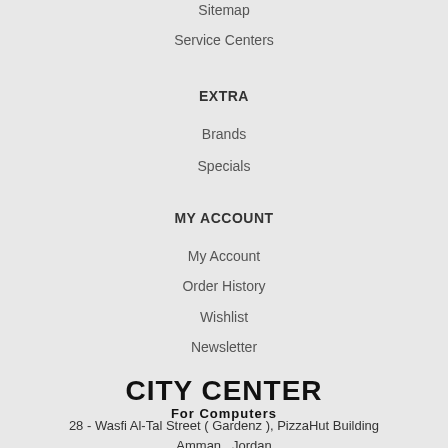Sitemap
Service Centers
EXTRA
Brands
Specials
MY ACCOUNT
My Account
Order History
Wishlist
Newsletter
CITY CENTER For Computers
28 - Wasfi Al-Tal Street ( Gardenz ), PizzaHut Building
Amman , Jordan